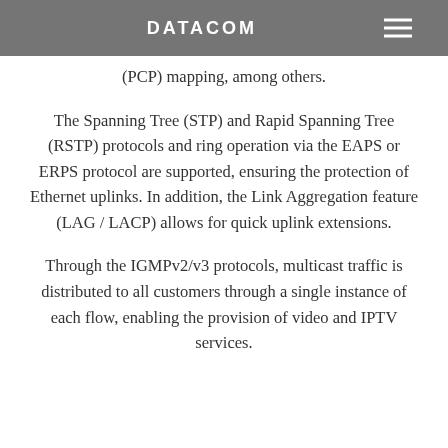DATACOM
(PCP) mapping, among others.
The Spanning Tree (STP) and Rapid Spanning Tree (RSTP) protocols and ring operation via the EAPS or ERPS protocol are supported, ensuring the protection of Ethernet uplinks. In addition, the Link Aggregation feature (LAG / LACP) allows for quick uplink extensions.
Through the IGMPv2/v3 protocols, multicast traffic is distributed to all customers through a single instance of each flow, enabling the provision of video and IPTV services.